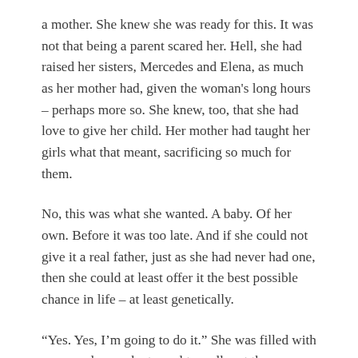a mother. She knew she was ready for this. It was not that being a parent scared her. Hell, she had raised her sisters, Mercedes and Elena, as much as her mother had, given the woman's long hours – perhaps more so. She knew, too, that she had love to give her child. Her mother had taught her girls what that meant, sacrificing so much for them.
No, this was what she wanted. A baby. Of her own. Before it was too late. And if she could not give it a real father, just as she had never had one, then she could at least offer it the best possible chance in life – at least genetically.
“Yes. Yes, I’m going to do it.” She was filled with new resolve as she turned to walk out the bathroom door. She looked at a disappear the smiling face of her...